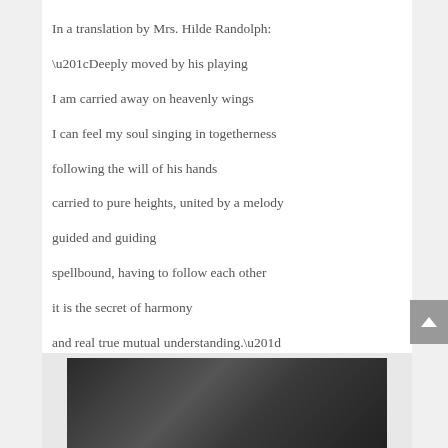In a translation by Mrs. Hilde Randolph:
“Deeply moved by his playing

I am carried away on heavenly wings

I can feel my soul singing in togetherness

following the will of his hands

carried to pure heights, united by a melody

guided and guiding

spellbound, having to follow each other

it is the secret of harmony

and real true mutual understanding.”
[Figure (photo): Black and white photograph showing two people, partially visible at bottom of page]